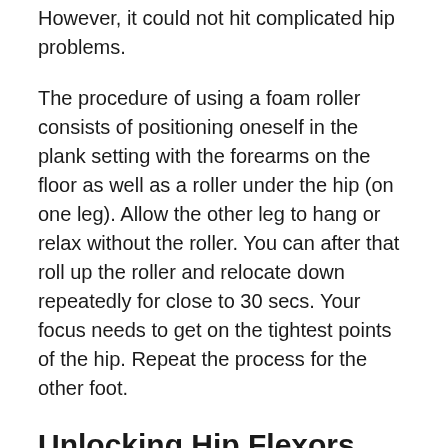However, it could not hit complicated hip problems.
The procedure of using a foam roller consists of positioning oneself in the plank setting with the forearms on the floor as well as a roller under the hip (on one leg). Allow the other leg to hang or relax without the roller. You can after that roll up the roller and relocate down repeatedly for close to 30 secs. Your focus needs to get on the tightest points of the hip. Repeat the process for the other foot.
Unlocking Hip Flexors
The other option for hip flexion issues is to perform such exercises as lunges, swirls, and stretches. If you are not already doing hip